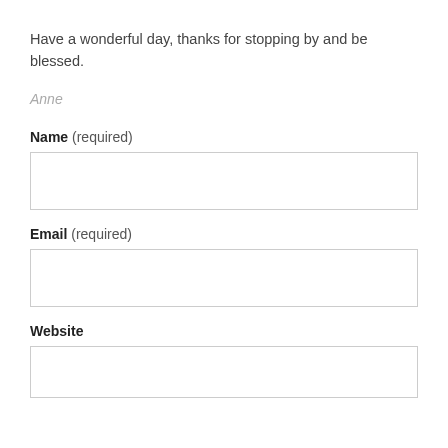Have a wonderful day, thanks for stopping by and be blessed.
Anne
Name (required)
Email (required)
Website